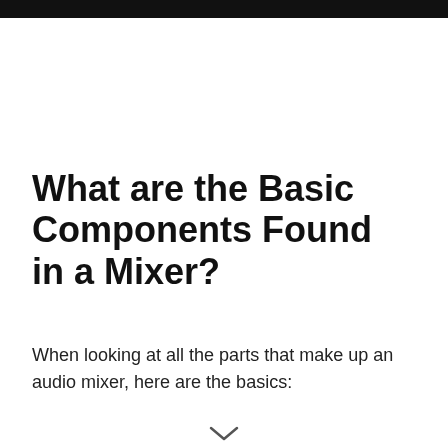What are the Basic Components Found in a Mixer?
When looking at all the parts that make up an audio mixer, here are the basics: